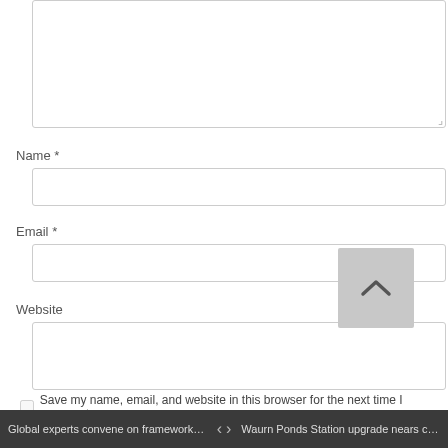[Figure (screenshot): Comment form textarea (empty, resizable) at top of page]
Name *
[Figure (screenshot): Name input field (empty text box)]
Email *
[Figure (screenshot): Email input field (empty text box)]
Website
[Figure (screenshot): Website input field (empty text box) with scroll-to-top button overlaid]
Save my name, email, and website in this browser for the next time I comment
Global experts convene on framework to...   <   >   Waurn Ponds Station upgrade nears com...